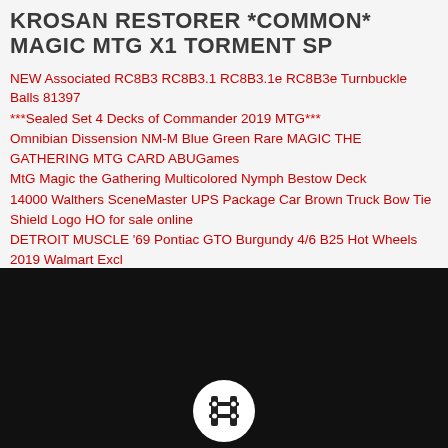KROSAN RESTORER *COMMON* MAGIC MTG X1 TORMENT SP
NEW Associated RC8B3 RC8B3.1 RC8B3.1e RC8B3e Turnbuckle Balls 81397
***Sealed Set 4 Decks of Commander 2019 MTG***
Omnibian Dissension NM-M Blue Green Rare MAGIC THE GATHERING MTG CARD ABUGames
MtG Magic the Gathering Multicolored Nymph Bestow Deck
14000 Walthers SceneMaster UPS Package Car Brown Truck Bow Tie Shield Logo HO for sale online
DETROIT MUSCLE '69 Pontiac GTO Burgundy 4/6 B25 Hot Wheels 2019 Walmart Excl
[Figure (logo): White circular logo with a stylized icon on a black background at the bottom of the page]